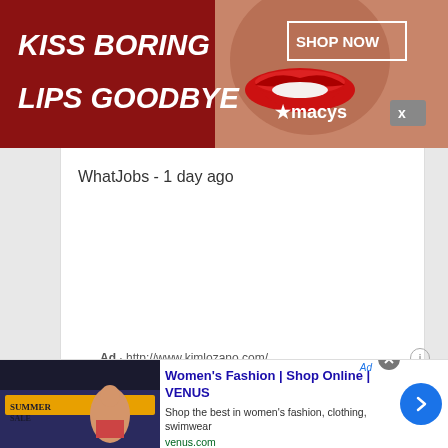[Figure (photo): Macy's advertisement banner with dark red background, woman's lips with red lipstick, text 'KISS BORING LIPS GOODBYE', 'SHOP NOW' button, and Macy's star logo]
WhatJobs - 1 day ago
Ad · http://www.kimlozano.com/
Editor & Writing Coach - Expert Writing Instruction
I will evaluate your book and give you professional feedback & action items. Editing & evaluation for
This site uses cookies and other similar technologies to provide site functionality, analyze traffic and usage, and
[Figure (photo): VENUS Women's Fashion advertisement with thumbnail image showing Summer Sale, title 'Women's Fashion | Shop Online | VENUS', description 'Shop the best in women's fashion, clothing, swimwear', URL venus.com, and blue arrow button]